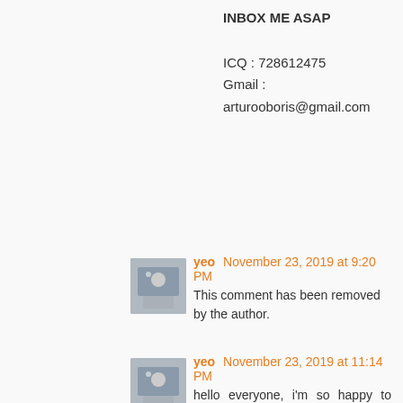INBOX ME ASAP

ICQ : 728612475
Gmail : arturooboris@gmail.com
yeo November 23, 2019 at 9:20 PM
This comment has been removed by the author.
yeo November 23, 2019 at 11:14 PM
hello everyone, i'm so happy to recommend and tell everyone about the credit repair hacker with the contact address QUADHACKED@GMAIL.COM . i let him handle my credit service,In which he disputed and deleted credit score degrading blemishes and collection lurking on my report for a while , I've been working on self recommendations and payed in advance before due payment date, for well over a year, but this didn't have much